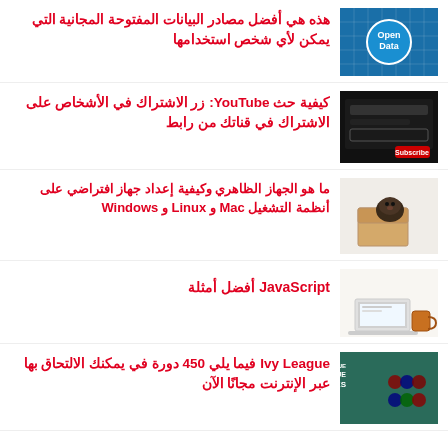هذه هي أفضل مصادر البيانات المفتوحة المجانية التي يمكن لأي شخص استخدامها
كيفية حث YouTube: زر الاشتراك في الأشخاص على الاشتراك في قناتك من رابط
ما هو الجهاز الظاهري وكيفية إعداد جهاز افتراضي على أنظمة التشغيل Mac و Linux و Windows
JavaScript أفضل أمثلة
Ivy League فيما يلي 450 دورة في يمكنك الالتحاق بها عبر الإنترنت مجانًا الآن